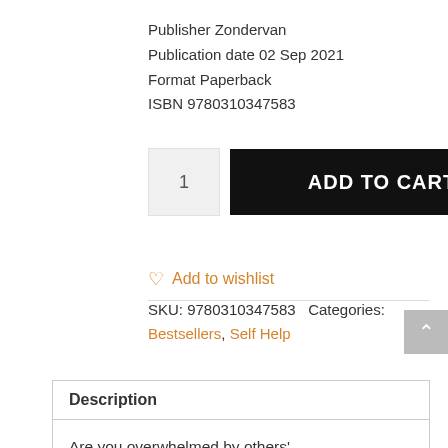Publisher Zondervan
Publication date 02 Sep 2021
Format Paperback
ISBN 9780310347583
1  ADD TO CART
♡ Add to wishlist
SKU: 9780310347583  Categories: Bestsellers, Self Help
Description
Are you overwhelmed by others'